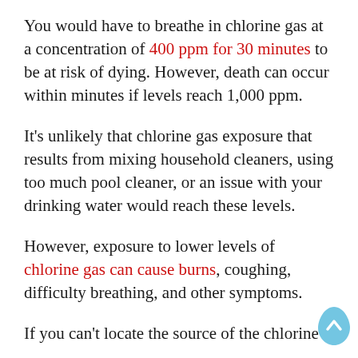You would have to breathe in chlorine gas at a concentration of 400 ppm for 30 minutes to be at risk of dying. However, death can occur within minutes if levels reach 1,000 ppm.
It's unlikely that chlorine gas exposure that results from mixing household cleaners, using too much pool cleaner, or an issue with your drinking water would reach these levels.
However, exposure to lower levels of chlorine gas can cause burns, coughing, difficulty breathing, and other symptoms.
If you can't locate the source of the chlorine